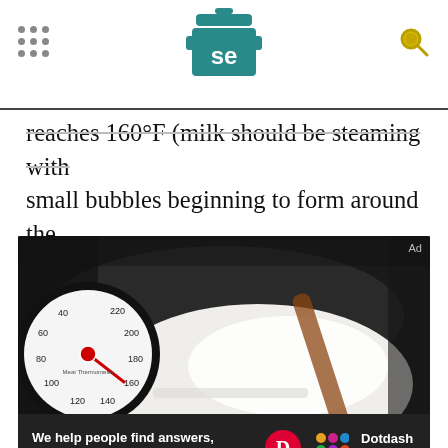Serious Eats header with logo and navigation
reaches 160°F (milk should be steaming with small bubbles beginning to form around the edges). Pour hot milk into the rum mixture.
[Figure (photo): A black pot on a stove containing steaming milk with a round dial thermometer inserted, showing approximately 160°F. A wooden spoon is also visible in the pot.]
We help people find answers, solve problems and get inspired. Dotdash meredith